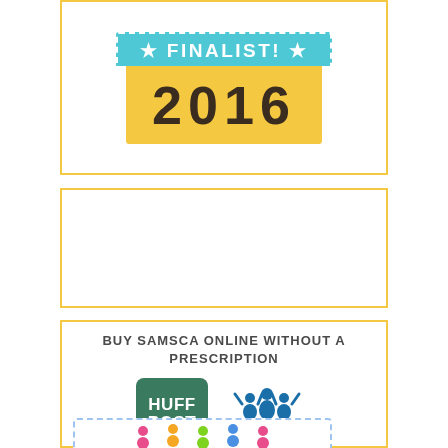[Figure (logo): Award finalist badge showing 'FINALIST!' text on teal ribbon and '2016' in large text on yellow background, enclosed in yellow border box]
[Figure (other): Empty yellow-bordered box]
BUY SAMSCA ONLINE WITHOUT A PRESCRIPTION
[Figure (logo): HuffPost (green square logo) and Mumsnet (blue text with figure logo) logos side by side, with a partially visible logo below]